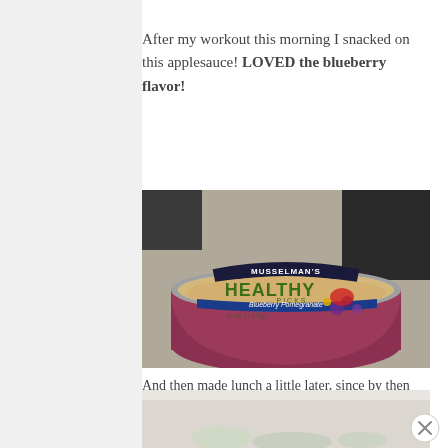After my workout this morning I snacked on this applesauce! LOVED the blueberry flavor!
[Figure (photo): A Musselman's Healthy Picks Blueberry Pomegranate applesauce cup (4 oz / 113g), showing the top with label and the purple-red applesauce cup below, photographed on a countertop.]
And then made lunch a little later, since by then it was already 11:15!
[Figure (photo): Partial view of a second food item/meal, cropped at bottom of page.]